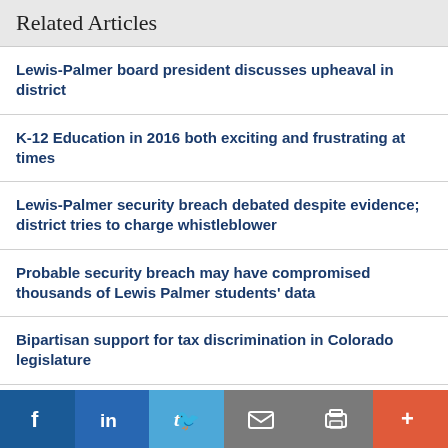Related Articles
Lewis-Palmer board president discusses upheaval in district
K-12 Education in 2016 both exciting and frustrating at times
Lewis-Palmer security breach debated despite evidence; district tries to charge whistleblower
Probable security breach may have compromised thousands of Lewis Palmer students' data
Bipartisan support for tax discrimination in Colorado legislature
[Figure (infographic): Social sharing bar with Facebook, LinkedIn, Twitter, Email, Print, and More (+) buttons in blue, light blue, grey, grey, and orange colors]